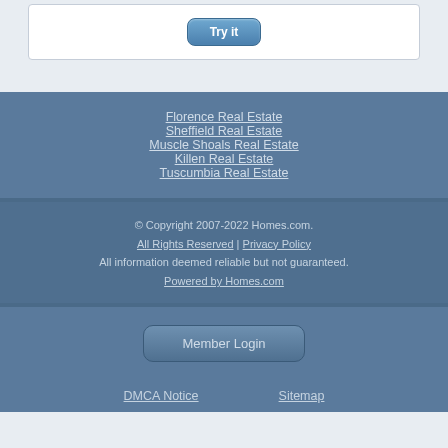[Figure (screenshot): Top portion of a webpage showing a 'Try it' button inside a white card box on a light blue-grey background]
Florence Real Estate
Sheffield Real Estate
Muscle Shoals Real Estate
Killen Real Estate
Tuscumbia Real Estate
© Copyright 2007-2022 Homes.com. All Rights Reserved | Privacy Policy All information deemed reliable but not guaranteed. Powered by Homes.com
Member Login
DMCA Notice    Sitemap